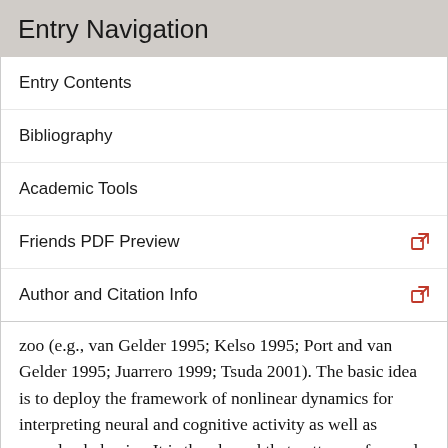Entry Navigation
Entry Contents
Bibliography
Academic Tools
Friends PDF Preview
Author and Citation Info
zoo (e.g., van Gelder 1995; Kelso 1995; Port and van Gelder 1995; Juarrero 1999; Tsuda 2001). The basic idea is to deploy the framework of nonlinear dynamics for interpreting neural and cognitive activity as well as complex behavior. It is then hoped that patterns of neural, cognitive and human activity can be explained as the results of nonlinear dynamical processes involving causal interactions and constraints at multiple levels (e.g., neurons, brains, bodies, physical environments). Such approaches are highly suggestive, but also face challenges. For instance, as mentioned in the previous